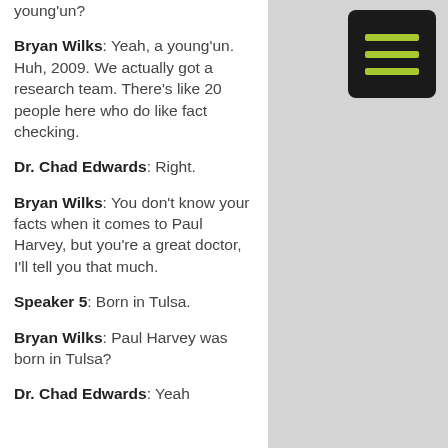young'un?
Bryan Wilks: Yeah, a young'un. Huh, 2009. We actually got a research team. There's like 20 people here who do like fact checking.
Dr. Chad Edwards: Right.
Bryan Wilks: You don't know your facts when it comes to Paul Harvey, but you're a great doctor, I'll tell you that much.
Speaker 5: Born in Tulsa.
Bryan Wilks: Paul Harvey was born in Tulsa?
Dr. Chad Edwards: Yeah